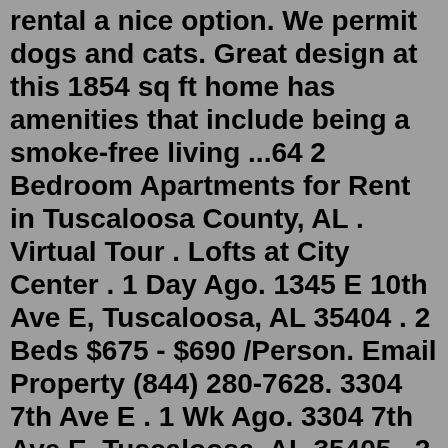rental a nice option. We permit dogs and cats. Great design at this 1854 sq ft home has amenities that include being a smoke-free living ...64 2 Bedroom Apartments for Rent in Tuscaloosa County, AL . Virtual Tour . Lofts at City Center . 1 Day Ago. 1345 E 10th Ave E, Tuscaloosa, AL 35404 . 2 Beds $675 - $690 /Person. Email Property (844) 280-7628. 3304 7th Ave E . 1 Wk Ago. 3304 7th Ave E, Tuscaloosa, AL 35405 . 2 Beds $825 . Email Property (833) 958-3727.2br - 820ft2 - #Upcoming 2 Bedroom Apartments!-!Thru Thick N (birmingh $1,400 2br - (4020 Oak St #17, Birmingham, AL) pic hide this posting restore restore this posting $313 gulfport apartments / housing for rent ... tuscaloosa (tsc) + show 26 more ... New Life. Affordable 2 Bedroom Available! See all 413 apartments and houses for rent in Greensboro, NC, including cheap, affordable, luxury and pet-friendly rentals. View floor plans, photos, prices and find the perfect rental today. Aug 16, 2012 · Fully Remodeled, 2 Bedroom 1 Bathroom apt in Reynoldsburg $1,450 2br - 825ft 2 - pic hide